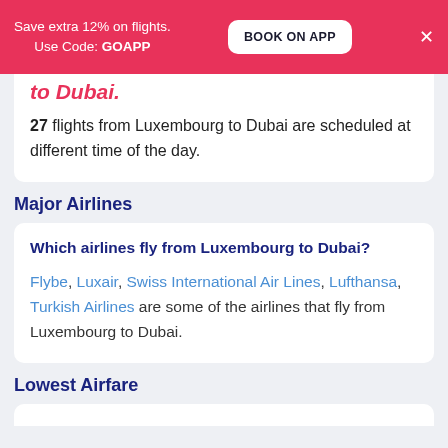Save extra 12% on flights. Use Code: GOAPP | BOOK ON APP
to Dubai.
27 flights from Luxembourg to Dubai are scheduled at different time of the day.
Major Airlines
Which airlines fly from Luxembourg to Dubai?
Flybe, Luxair, Swiss International Air Lines, Lufthansa, Turkish Airlines are some of the airlines that fly from Luxembourg to Dubai.
Lowest Airfare